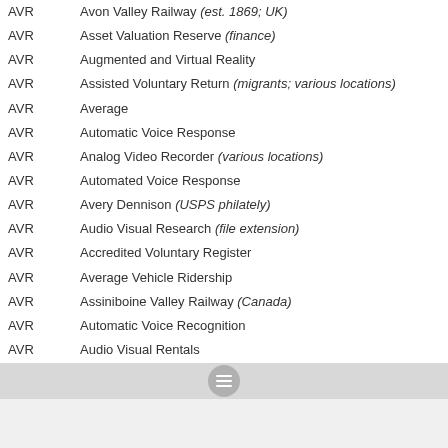AVR — Avon Valley Railway (est. 1869; UK)
AVR — Asset Valuation Reserve (finance)
AVR — Augmented and Virtual Reality
AVR — Assisted Voluntary Return (migrants; various locations)
AVR — Average
AVR — Automatic Voice Response
AVR — Analog Video Recorder (various locations)
AVR — Automated Voice Response
AVR — Avery Dennison (USPS philately)
AVR — Audio Visual Research (file extension)
AVR — Accredited Voluntary Register
AVR — Average Vehicle Ridership
AVR — Assiniboine Valley Railway (Canada)
AVR — Automatic Voice Recognition
AVR — Audio Visual Rentals
AVR — Alf-Egil Bogen, Vegard Wollan, RISC microcontroller (aka Advanced Virtual RISC)